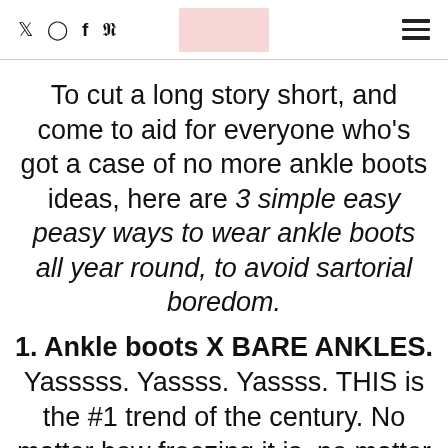social icons: twitter, instagram, facebook, pinterest | logo placeholder | hamburger menu
To cut a long story short, and come to aid for everyone who's got a case of no more ankle boots ideas, here are 3 simple easy peasy ways to wear ankle boots all year round, to avoid sartorial boredom.
1. Ankle boots X BARE ANKLES. Yasssss. Yassss. Yassss. THIS is the #1 trend of the century. No matter how freezing it is, no matter